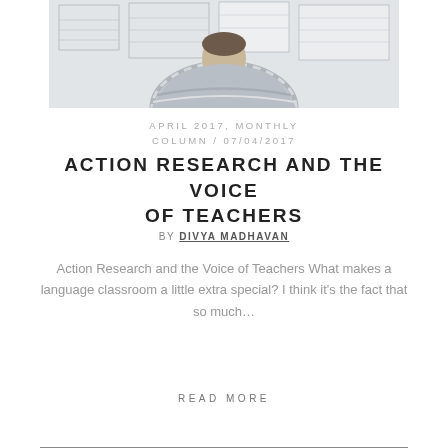[Figure (photo): Person viewed from behind wearing a striped sweater, standing in front of charts/diagrams pinned to a wall]
APRIL 2017, MONTHLY COLUMN / 07/04/2017
ACTION RESEARCH AND THE VOICE OF TEACHERS
BY DIVYA MADHAVAN
Action Research and the Voice of Teachers What makes a language classroom a little extra special? I think it's the fact that so much…
READ MORE